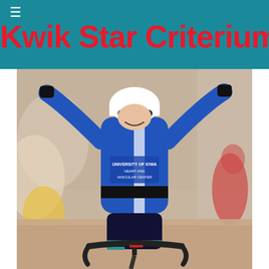Kwik Star Criterium
[Figure (photo): A cyclist wearing a blue University of Iowa Heart and Vascular Center jersey crosses the finish line with arms raised in victory celebration. The background shows blurred spectators and other cyclists. The cyclist is riding a road bike.]